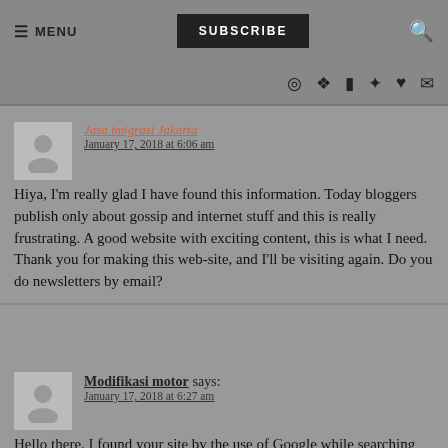≡ MENU  SUBSCRIBE  🔍
January 17, 2018 at 6:06 am
Hiya, I'm really glad I have found this information. Today bloggers publish only about gossip and internet stuff and this is really frustrating. A good website with exciting content, this is what I need. Thank you for making this web-site, and I'll be visiting again. Do you do newsletters by email?
Modifikasi motor says:
January 17, 2018 at 6:27 am
Hello there. I found your site by the use of Google while searching for a comparable topic, your website got here up. It seems great. I have bookmarked it in my google bookmarks to visit then.